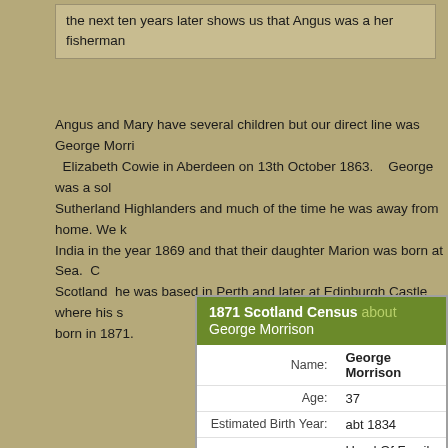the next ten years later shows us that Angus was a her fisherman
Angus and Mary have several children but our direct line was George Morri Elizabeth Cowie in Aberdeen on 13th October 1863. George was a sol Sutherland Highlanders and much of the time he was away from home. We India in the year 1869 and that their daughter Marion was born at Sea. C Scotland he was based in Perth and later at Edinburgh Castle where his s born in 1871.
| Field | Value |
| --- | --- |
| Name: | George Morrison |
| Age: | 37 |
| Estimated Birth Year: | abt 1834 |
| Relationship: | Head Of Family (Head) |
| Spouse's name : | Elizabeth Morrison |
| Gender: | Male |
| Where born: | sutherlandshire, Tongue |
| Registration number: | 387/1 |
| Registration district: | Perth Burgh |